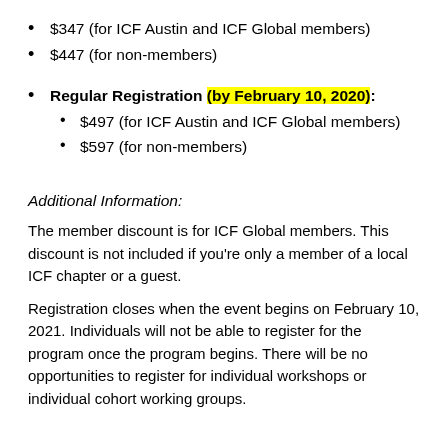$347 (for ICF Austin and ICF Global members)
$447 (for non-members)
Regular Registration (by February 10, 2020):
$497 (for ICF Austin and ICF Global members)
$597 (for non-members)
Additional Information:
The member discount is for ICF Global members. This discount is not included if you’re only a member of a local ICF chapter or a guest.
Registration closes when the event begins on February 10, 2021. Individuals will not be able to register for the program once the program begins. There will be no opportunities to register for individual workshops or individual cohort working groups.